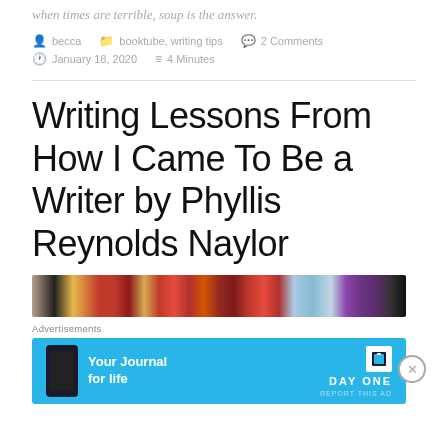when times are terrible, soup is the answer.
becca   booktube, writing tips   2 Comments   January 18, 2020   4 Minutes
Writing Lessons From How I Came To Be a Writer by Phyllis Reynolds Naylor
[Figure (photo): Row of colorful books on a shelf, dark background]
Advertisements
[Figure (screenshot): Day One app advertisement banner: 'Your Journal for life' with phone mockup and book icon on cyan background]